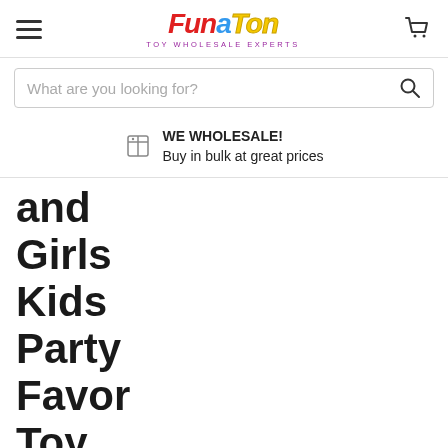Fun a Ton - TOY WHOLESALE EXPERTS
What are you looking for?
WE WHOLESALE! Buy in bulk at great prices
and Girls Kids Party Favor Toy. #1745-1A 1735, 1745